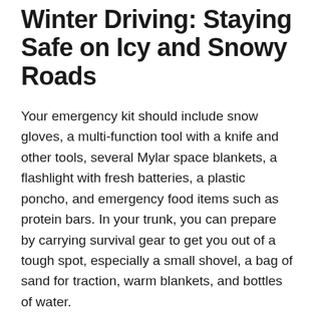Winter Driving: Staying Safe on Icy and Snowy Roads
Your emergency kit should include snow gloves, a multi-function tool with a knife and other tools, several Mylar space blankets, a flashlight with fresh batteries, a plastic poncho, and emergency food items such as protein bars. In your trunk, you can prepare by carrying survival gear to get you out of a tough spot, especially a small shovel, a bag of sand for traction, warm blankets, and bottles of water.
Before winter weather sets in, get your vehicles in for a full service. Checking all of your vehicle's systems can save you from a breakdown in the cold